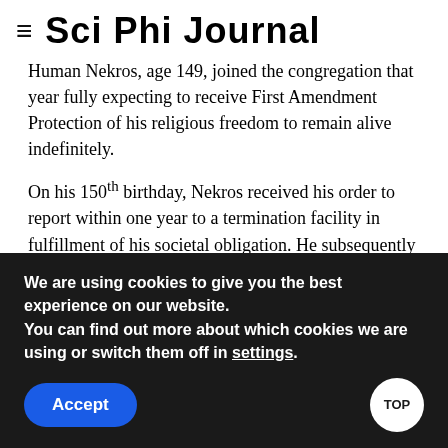≡ Sci Phi Journal
Human Nekros, age 149, joined the congregation that year fully expecting to receive First Amendment Protection of his religious freedom to remain alive indefinitely.
On his 150th birthday, Nekros received his order to report within one year to a termination facility in fulfillment of his societal obligation. He subsequently obtained a temporary restraining order in Federal District Court to stay the process pending a hearing.
At the hearing, Pepper's lawyers argued that Nekros's rights
We are using cookies to give you the best experience on our website.
You can find out more about which cookies we are using or switch them off in settings.